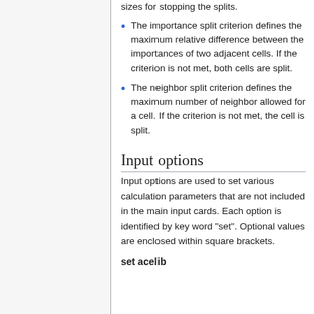sizes for stopping the splits.
The importance split criterion defines the maximum relative difference between the importances of two adjacent cells. If the criterion is not met, both cells are split.
The neighbor split criterion defines the maximum number of neighbor allowed for a cell. If the criterion is not met, the cell is split.
Input options
Input options are used to set various calculation parameters that are not included in the main input cards. Each option is identified by key word "set". Optional values are enclosed within square brackets.
set acelib